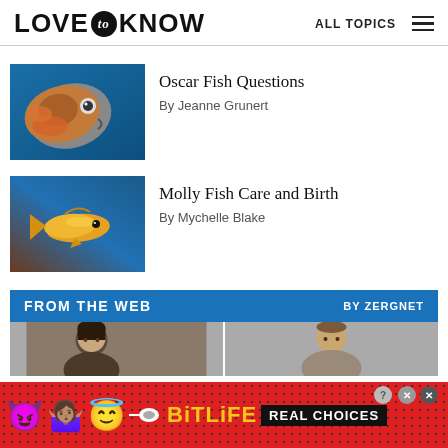LOVE to KNOW — ALL TOPICS
[Figure (photo): Close-up of an orange and gray Oscar fish against a blue background]
Oscar Fish Questions
By Jeanne Grunert
[Figure (photo): Small orange/gold Molly fish swimming against a blue-brown background]
Molly Fish Care and Birth
By Mychelle Blake
FROM THE WEB BY ZERGNET
[Figure (photo): Two thumbnail images of people from web content previews]
[Figure (advertisement): BitLife Real Choices mobile game advertisement banner with emoji characters on red dotted background]